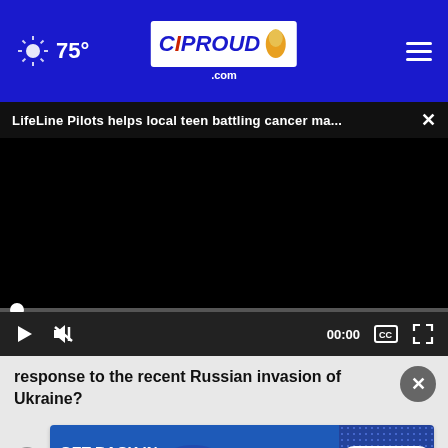75° CIProud.com
LifeLine Pilots helps local teen battling cancer ma...
[Figure (screenshot): Black video player area with progress bar and controls]
response to the recent Russian invasion of Ukraine?
[Figure (infographic): American Pest Control advertisement banner with GET BACK IN CONTROL text and FREE QUOTE button]